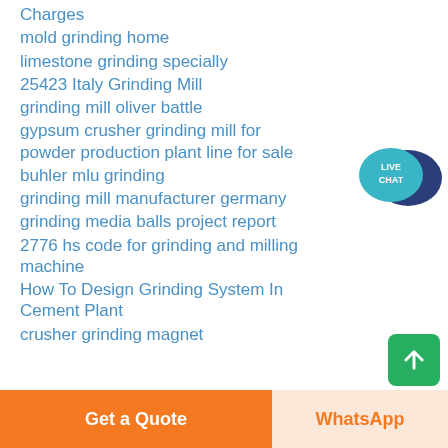Charges
mold grinding home
limestone grinding specially
25423 Italy Grinding Mill
grinding mill oliver battle
gypsum crusher grinding mill for powder production plant line for sale
buhler mlu grinding
grinding mill manufacturer germany
grinding media balls project report
2776 hs code for grinding and milling machine
How To Design Grinding System In Cement Plant
crusher grinding magnet
[Figure (logo): Live Chat speech bubble badge icon in teal and dark blue]
Get a Quote
WhatsApp